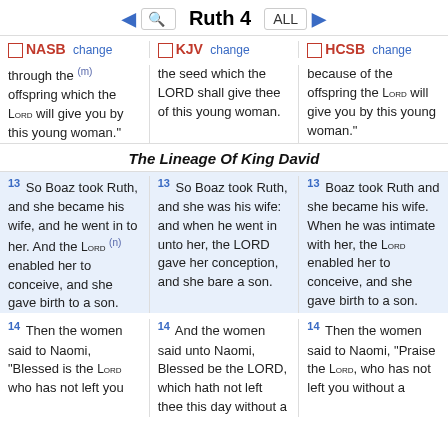Ruth 4 ALL
NASB change | KJV change | HCSB change
through the (m) offspring which the LORD will give you by this young woman." | the seed which the LORD shall give thee of this young woman. | because of the offspring the LORD will give you by this young woman."
The Lineage Of King David
13 So Boaz took Ruth, and she became his wife, and he went in to her. And the LORD (n) enabled her to conceive, and she gave birth to a son. | 13 So Boaz took Ruth, and she was his wife: and when he went in unto her, the LORD gave her conception, and she bare a son. | 13 Boaz took Ruth and she became his wife. When he was intimate with her, the LORD enabled her to conceive, and she gave birth to a son.
14 Then the women said to Naomi, "Blessed is the LORD who has not left you without a (o) | 14 And the women said unto Naomi, Blessed be the LORD, which hath not left thee this day without a | 14 Then the women said to Naomi, "Praise the LORD, who has not left you without a family